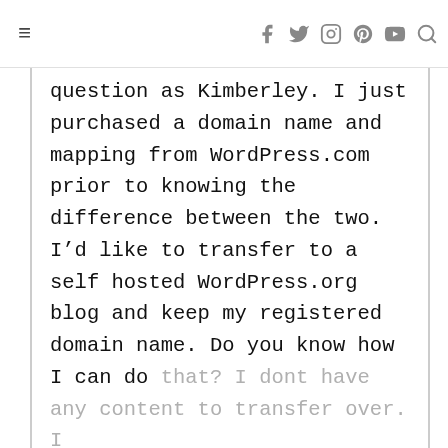≡  f  twitter  instagram  pinterest  youtube  search
question as Kimberley. I just purchased a domain name and mapping from WordPress.com prior to knowing the difference between the two. I’d like to transfer to a self hosted WordPress.org blog and keep my registered domain name. Do you know how I can do that? I dont have any content to transfer over. I